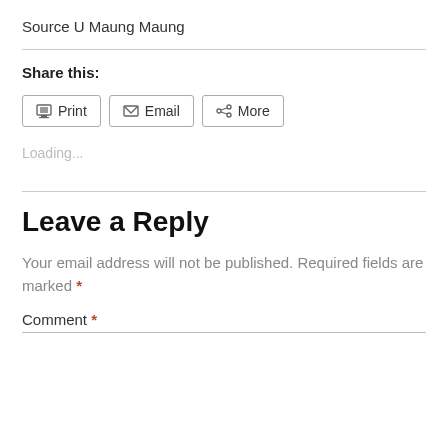Source U Maung Maung
Share this:
[Figure (other): Share buttons: Print, Email, More]
Loading...
Leave a Reply
Your email address will not be published. Required fields are marked *
Comment *